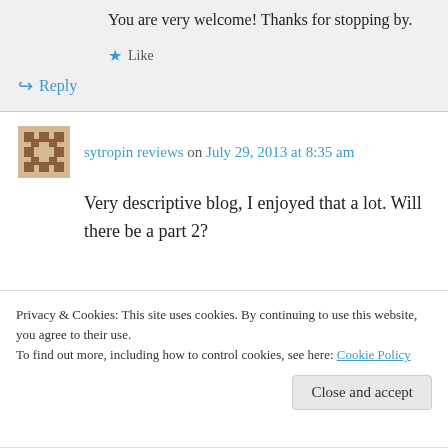You are very welcome! Thanks for stopping by.
Like
Reply
sytropin reviews on July 29, 2013 at 8:35 am
Very descriptive blog, I enjoyed that a lot. Will there be a part 2?
Privacy & Cookies: This site uses cookies. By continuing to use this website, you agree to their use. To find out more, including how to control cookies, see here: Cookie Policy
Close and accept
Patti Clark on July 29, 2013 at 6:12 pm